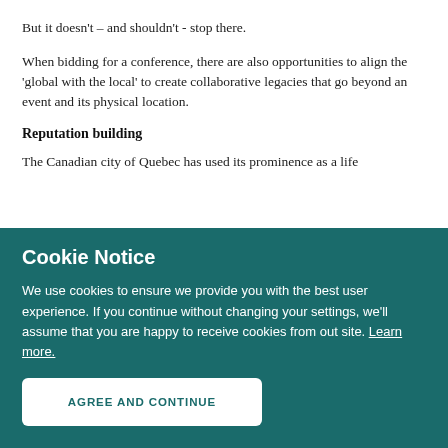But it doesn't – and shouldn't - stop there.
When bidding for a conference, there are also opportunities to align the ‘global with the local’ to create collaborative legacies that go beyond an event and its physical location.
Reputation building
The Canadian city of Quebec has used its prominence as a life
Cookie Notice
We use cookies to ensure we provide you with the best user experience. If you continue without changing your settings, we'll assume that you are happy to receive cookies from out site. Learn more.
AGREE AND CONTINUE